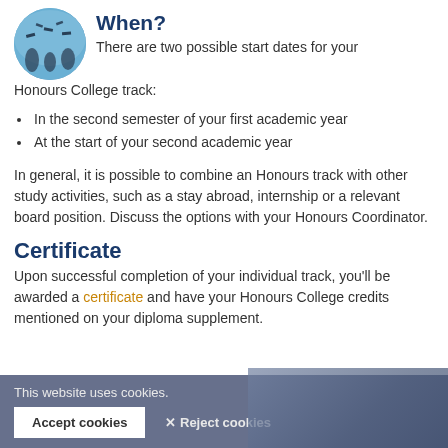[Figure (photo): Circular cropped photo of graduates throwing caps in the air against a blue sky]
When?
There are two possible start dates for your Honours College track:
In the second semester of your first academic year
At the start of your second academic year
In general, it is possible to combine an Honours track with other study activities, such as a stay abroad, internship or a relevant board position. Discuss the options with your Honours Coordinator.
Certificate
Upon successful completion of your individual track, you'll be awarded a certificate and have your Honours College credits mentioned on your diploma supplement.
This website uses cookies. Accept cookies  ✕ Reject cookies